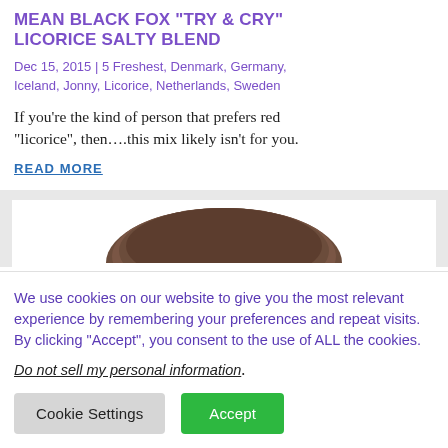MEAN BLACK FOX "TRY & CRY" LICORICE SALTY BLEND
Dec 15, 2015 | 5 Freshest, Denmark, Germany, Iceland, Jonny, Licorice, Netherlands, Sweden
If you’re the kind of person that prefers red “licorice”, then….this mix likely isn’t for you.
READ MORE
[Figure (photo): Partial photo of a dark-colored licorice candy piece on white background, partially visible at bottom of image area]
We use cookies on our website to give you the most relevant experience by remembering your preferences and repeat visits. By clicking “Accept”, you consent to the use of ALL the cookies.
Do not sell my personal information.
Cookie Settings
Accept